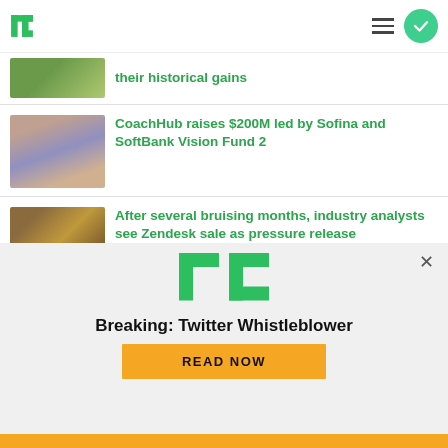TechCrunch logo, hamburger menu, checkmark button
their historical gains
CoachHub raises $200M led by Sofina and SoftBank Vision Fund 2
After several bruising months, industry analysts see Zendesk sale as pressure release
[Figure (infographic): TechCrunch promotional banner with TC logo, 'Breaking: Twitter Whistleblower' headline, and READ NOW yellow button]